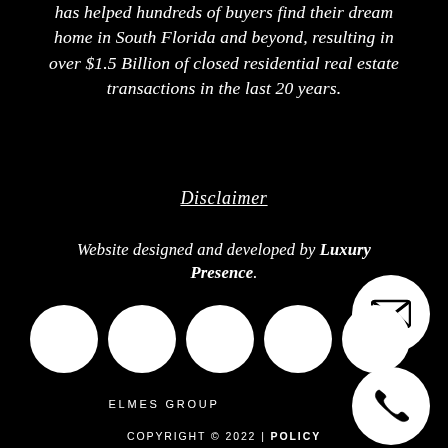has helped hundreds of buyers find their dream home in South Florida and beyond, resulting in over $1.5 Billion of closed residential real estate transactions in the last 20 years.
Disclaimer
Website designed and developed by Luxury Presence.
[Figure (illustration): Row of five white circles (social media icon placeholders) on black background, plus two floating circles with envelope and phone icons on the right side]
ELMES GROUP
COPYRIGHT © 2022 | POLICY